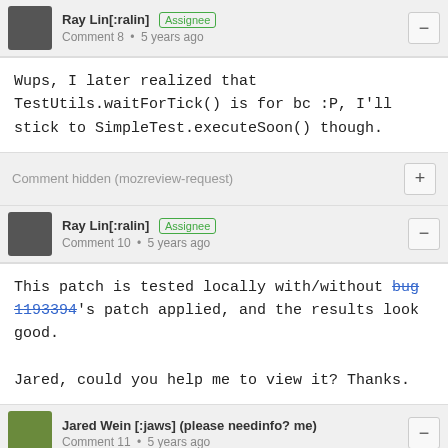Ray Lin[:ralin] Assignee Comment 8 • 5 years ago
Wups, I later realized that TestUtils.waitForTick() is for bc :P, I'll stick to SimpleTest.executeSoon() though.
Comment hidden (mozreview-request)
Ray Lin[:ralin] Assignee Comment 10 • 5 years ago
This patch is tested locally with/without bug 1193394's patch applied, and the results look good.

Jared, could you help me to view it? Thanks.
Jared Wein [:jaws] (please needinfo? me) Comment 11 • 5 years ago